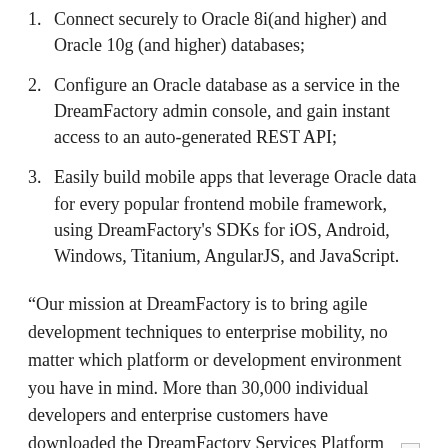1. Connect securely to Oracle 8i(and higher) and Oracle 10g (and higher) databases;
2. Configure an Oracle database as a service in the DreamFactory admin console, and gain instant access to an auto-generated REST API;
3. Easily build mobile apps that leverage Oracle data for every popular frontend mobile framework, using DreamFactory's SDKs for iOS, Android, Windows, Titanium, AngularJS, and JavaScript.
“Our mission at DreamFactory is to bring agile development techniques to enterprise mobility, no matter which platform or development environment you have in mind. More than 30,000 individual developers and enterprise customers have downloaded the DreamFactory Services Platform since